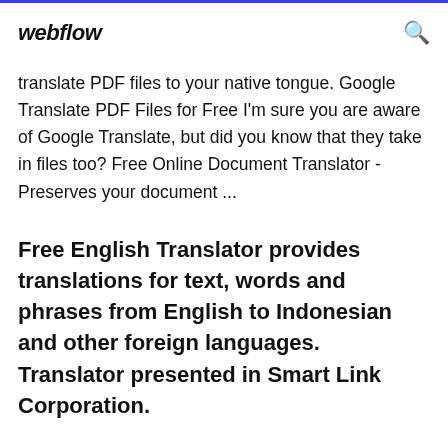webflow
translate PDF files to your native tongue. Google Translate PDF Files for Free I'm sure you are aware of Google Translate, but did you know that they take in files too? Free Online Document Translator - Preserves your document ...
Free English Translator provides translations for text, words and phrases from English to Indonesian and other foreign languages. Translator presented in Smart Link Corporation.